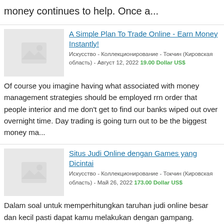money continues to help. Once a...
A Simple Plan To Trade Online - Earn Money Instantly!
Искусство - Коллекционирование - Токчин (Кировская область) - Август 12, 2022 19.00 Dollar US$
Of course you imagine having what associated with money management strategies should be employed rrn order that people interior and me don't get to find our banks wiped out over overnight time. Day trading is going turn out to be the biggest money ma...
Situs Judi Online dengan Games yang Dicintai
Искусство - Коллекционирование - Токчин (Кировская область) - Май 26, 2022 173.00 Dollar US$
Dalam soal untuk memperhitungkan taruhan judi online besar dan kecil pasti dapat kamu melakukan dengan gampang. Dengan